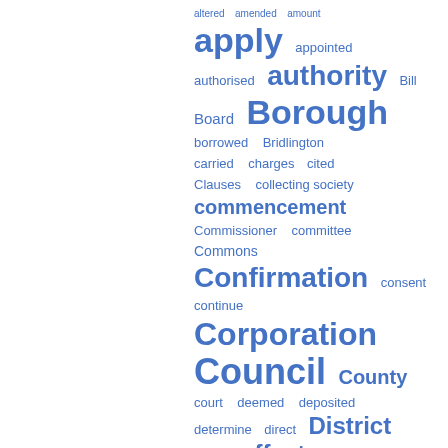[Figure (infographic): A word cloud / tag cloud displayed in blue, showing legal/government index terms of varying font sizes indicating frequency or importance. Terms include: altered, amended, amount, apply, appointed, authorised, authority, Bill, Board, Borough, borrowed, Bridlington, carried, charges, cited, Clauses, collecting society, commencement, Commissioner, committee, Commons, Confirmation, consent, continue, Corporation, Council, County, court, deemed, deposited, determine, direct, District, duties, effect, election, entitled, exceeding.]